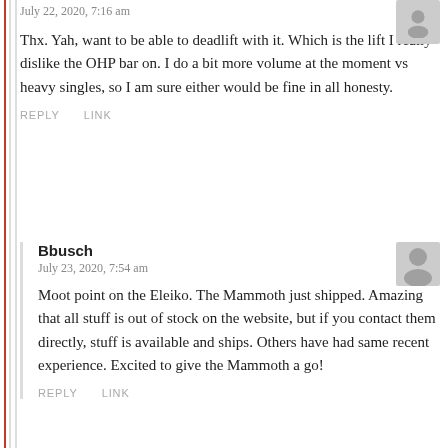July 22, 2020, 7:16 am
Thx. Yah, want to be able to deadlift with it. Which is the lift I really dislike the OHP bar on. I do a bit more volume at the moment vs heavy singles, so I am sure either would be fine in all honesty.
REPLY   LINK
Bbusch
July 23, 2020, 7:54 am
Moot point on the Eleiko. The Mammoth just shipped. Amazing that all stuff is out of stock on the website, but if you contact them directly, stuff is available and ships. Others have had same recent experience. Excited to give the Mammoth a go!
REPLY   LINK